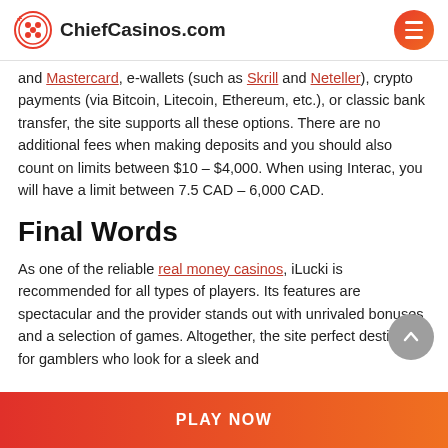ChiefCasinos.com
and Mastercard, e-wallets (such as Skrill and Neteller), crypto payments (via Bitcoin, Litecoin, Ethereum, etc.), or classic bank transfer, the site supports all these options. There are no additional fees when making deposits and you should also count on limits between $10 – $4,000. When using Interac, you will have a limit between 7.5 CAD – 6,000 CAD.
Final Words
As one of the reliable real money casinos, iLucki is recommended for all types of players. Its features are spectacular and the provider stands out with unrivaled bonuses and a selection of games. Altogether, the site perfect destination for gamblers who look for a sleek and
PLAY NOW